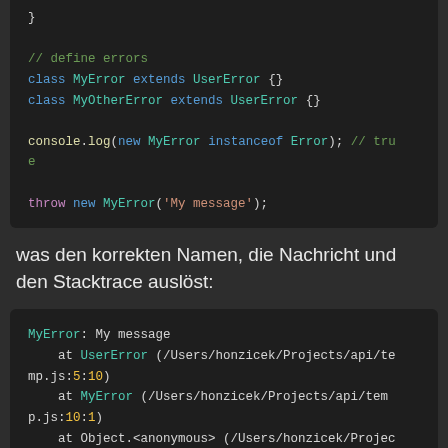[Figure (screenshot): Code block showing JavaScript class definitions and console.log/throw statements with syntax highlighting on dark background]
was den korrekten Namen, die Nachricht und den Stacktrace auslöst:
[Figure (screenshot): Code block showing error stack trace output: MyError: My message, at UserError (/Users/honzicek/Projects/api/temp.js:5:10), at MyError (/Users/honzicek/Projects/api/temp.js:10:1), at Object.<anonymous> (/Users/honzicek/Projects/api/temp.js:14:7)]